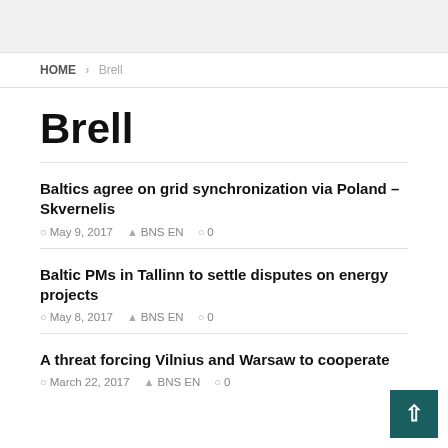HOME > Brell
Brell
Baltics agree on grid synchronization via Poland – Skvernelis
May 9, 2017   BNS EN   0
Baltic PMs in Tallinn to settle disputes on energy projects
May 8, 2017   BNS EN   0
A threat forcing Vilnius and Warsaw to cooperate
March 22, 2017   BNS EN   0